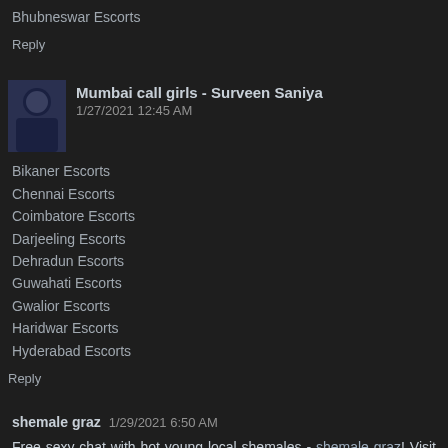Bhubneswar Escorts
Reply
Mumbai call girls - Surveen Saniya  1/27/2021 12:45 AM
Bikaner Escorts
Chennai Escorts
Coimbatore Escorts
Darjeeling Escorts
Dehradun Escorts
Guwahati Escorts
Gwalior Escorts
Haridwar Escorts
Hyderabad Escorts
Reply
shemale graz  1/29/2021 6:50 AM
Free sexy chat with hot young local shemales - shemale graz! Visit right now!